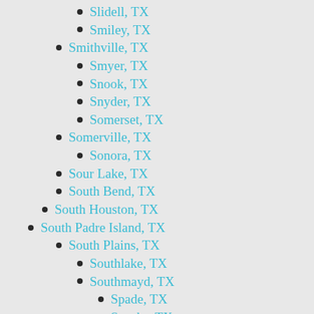Slidell, TX
Smiley, TX
Smithville, TX
Smyer, TX
Snook, TX
Snyder, TX
Somerset, TX
Somerville, TX
Sonora, TX
Sour Lake, TX
South Bend, TX
South Houston, TX
South Padre Island, TX
South Plains, TX
Southlake, TX
Southmayd, TX
Spade, TX
Speaks, TX
Spearman, TX
Spicewood, TX